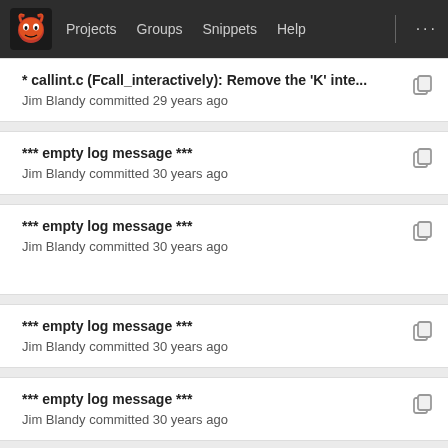Projects  Groups  Snippets  Help  ...
* callint.c (Fcall_interactively): Remove the 'K' inte...
Jim Blandy committed 29 years ago
*** empty log message ***
Jim Blandy committed 30 years ago
*** empty log message ***
Jim Blandy committed 30 years ago
*** empty log message ***
Jim Blandy committed 30 years ago
*** empty log message ***
Jim Blandy committed 30 years ago
Initial revision